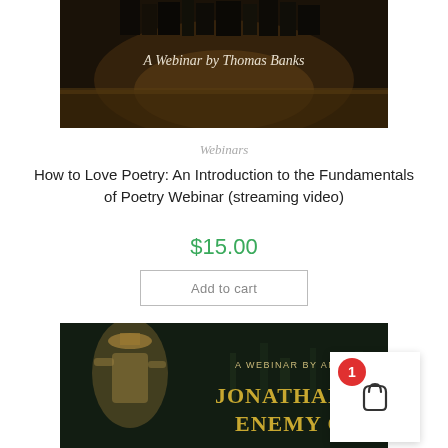[Figure (photo): Dark photo of old books on a wooden surface with text 'A Webinar by Thomas Banks' in white serif font]
Webinars
How to Love Poetry: An Introduction to the Fundamentals of Poetry Webinar (streaming video)
$15.00
Add to cart
[Figure (photo): Dark green/black background with illustration of a figure and gold text 'A WEBINAR BY ANGELI' and 'JONATHAN' and 'ENEMY OF' partially visible]